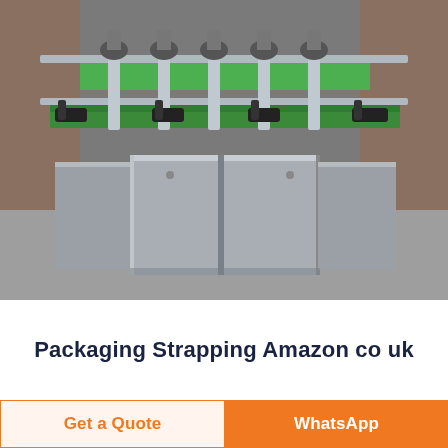[Figure (photo): Industrial packaging/strapping machine with stainless steel body, green components and black clamps/handles, photographed in a factory setting with concrete floor. Multiple capping or filling heads visible on a conveyor-style frame.]
Packaging Strapping Amazon co uk
ON FREE Delivery on orders over...
Get a Quote
WhatsApp